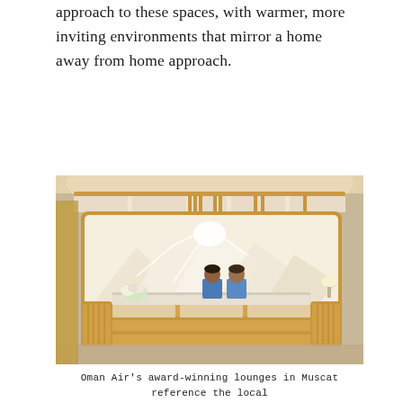…removed from utility and inject a residential approach to these spaces, with warmer, more inviting environments that mirror a home away from home approach.
[Figure (photo): Interior photograph of Oman Air's award-winning lounge at Muscat airport showing a curved reception desk with gold lattice paneling, two staff members in blue uniforms, a backlit mountain landscape mural on the wall, and floral arrangement on the desk.]
Oman Air's award-winning lounges in Muscat reference the local landscape